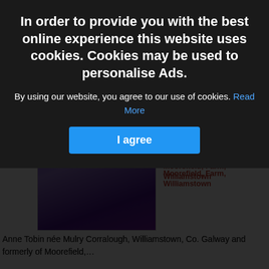[Figure (screenshot): Cookie consent overlay dialog on a website showing obituary listings. Overlay has dark background with bold white text heading about cookies, body text, a 'Read More' link, and a blue 'I agree' button. Behind the overlay are two obituary entries with photos and red headings.]
In order to provide you with the best online experience this website uses cookies. Cookies may be used to personalise Ads.
By using our website, you agree to our use of cookies. Read More
I agree
Anne Tobin née Mulry, Corralough, Williamstown, Co. Galway and formerly of Moorefield, Farm, Williamstown
Anne Tobin née Mulry Corralough, Williamstown, Co. Galway and formerly of Moorefield,…
Aug 09, 2022
P.J. Judge (better known as P), Carracrum, Bonniconlon, Ballina, Co. Mayo
P.J. Judge (better known as P),